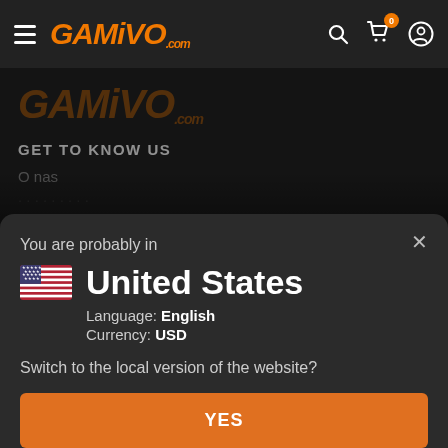GAMIVO.com
[Figure (screenshot): GAMIVO website background showing GET TO KNOW US section with O nas link, partially visible]
You are probably in
United States
Language: English
Currency: USD
Switch to the local version of the website?
YES